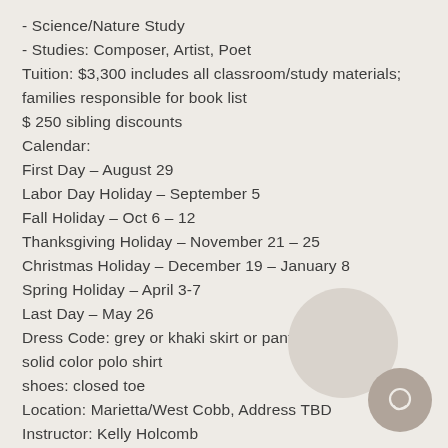- Science/Nature Study
- Studies: Composer, Artist, Poet
Tuition: $3,300 includes all classroom/study materials; families responsible for book list
$ 250 sibling discounts
Calendar:
First Day – August 29
Labor Day Holiday – September 5
Fall Holiday – Oct 6 – 12
Thanksgiving Holiday – November 21 – 25
Christmas Holiday – December 19 – January 8
Spring Holiday – April 3-7
Last Day – May 26
Dress Code: grey or khaki skirt or pants
solid color polo shirt
shoes: closed toe
Location: Marietta/West Cobb, Address TBD
Instructor: Kelly Holcomb
plantingsacademy@pm.me
770-356-6696 phone or text